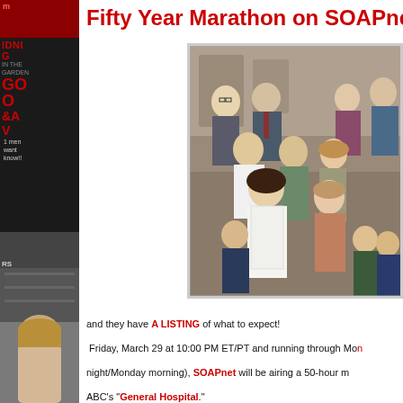[Figure (illustration): Left sidebar showing stacked magazine covers with red text including 'MIDNIGHT IN THE GARDEN OF GOOD & EVIL' and other magazine imagery with a woman's portrait]
Fifty Year Marathon on SOAPnet
[Figure (photo): Group photo of cast members from General Hospital, a large group of men and women in 1970s-style clothing posed together]
and they have A LISTING of what to expect! Friday, March 29 at 10:00 PM ET/PT and running through Monday night/Monday morning), SOAPnet will be airing a 50-hour marathon of ABC's "General Hospital." The marathon is kicked off with the very first episode of the